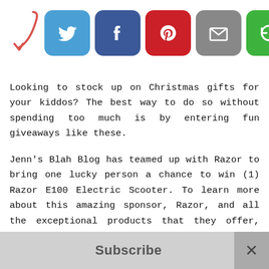[Figure (other): Social sharing bar with red arrow and icons: Twitter (blue), Facebook (blue), Pinterest (red), Email (gray), Share (green)]
Looking to stock up on Christmas gifts for your kiddos? The best way to do so without spending too much is by entering fun giveaways like these.
Jenn's Blah Blog has teamed up with Razor to bring one lucky person a chance to win (1) Razor E100 Electric Scooter. To learn more about this amazing sponsor, Razor, and all the exceptional products that they offer, check out Jenn's Blah Blog's http://www.jennsblahblahblog.com/choosing-
Subscribe ×